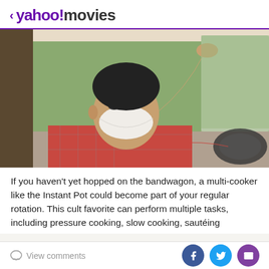< yahoo! movies
[Figure (photo): Person wearing a white face mask sitting in the driver seat of a car, wearing a red plaid shirt, looking toward the camera with one hand on the car door frame and the other near the steering wheel.]
If you haven't yet hopped on the bandwagon, a multi-cooker like the Instant Pot could become part of your regular rotation. This cult favorite can perform multiple tasks, including pressure cooking, slow cooking, sautéing
View comments